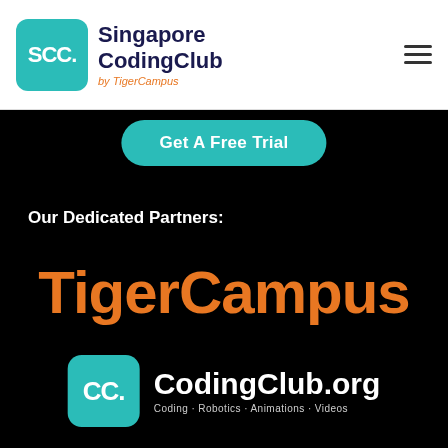[Figure (logo): Singapore CodingClub by TigerCampus logo with teal SCC box and dark blue text]
[Figure (logo): Hamburger menu icon (three horizontal lines)]
Get A Free Trial
Our Dedicated Partners:
[Figure (logo): TigerCampus logo in large orange bold text on black background]
[Figure (logo): CodingClub.org logo with teal CC box and white text. Subtitle: Coding · Robotics · Animations · Videos]